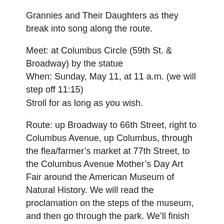Grannies and Their Daughters as they break into song along the route.
Meet: at Columbus Circle (59th St. & Broadway) by the statue
When: Sunday, May 11, at 11 a.m. (we will step off 11:15)
Stroll for as long as you wish.
Route: up Broadway to 66th Street, right to Columbus Avenue, up Columbus, through the flea/farmer’s market at 77th Street, to the Columbus Avenue Mother’s Day Art Fair around the American Museum of Natural History. We will read the proclamation on the steps of the museum, and then go through the park. We’ll finish at the Metropolitan Museum of Art.
Bring: banners, signs of peace, noisemakers (not whistles) if you wish.
Attire: pink and/or festive.